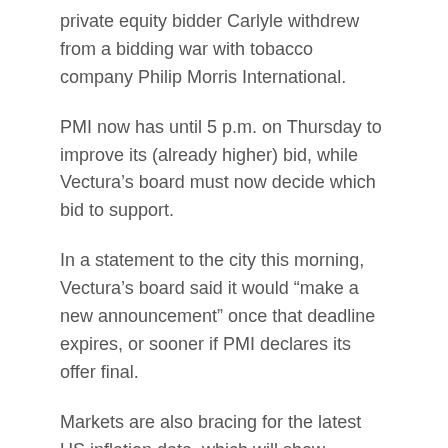private equity bidder Carlyle withdrew from a bidding war with tobacco company Philip Morris International.
PMI now has until 5 p.m. on Thursday to improve its (already higher) bid, while Vectura's board must now decide which bid to support.
In a statement to the city this morning, Vectura's board said it would “make a new announcement” once that deadline expires, or sooner if PMI declares its offer final.
Markets are also bracing for the latest US inflation data, which will show whether prices continued to rise last month. The US CPI is expected to fall to 5.3% year-on-year, after a 13-year high of 5.4% in June.
Agenda